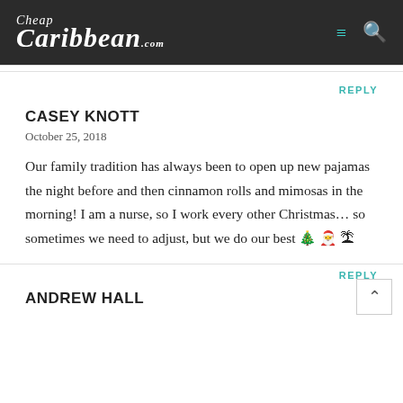Cheap Caribbean .com
REPLY
CASEY KNOTT
October 25, 2018
Our family tradition has always been to open up new pajamas the night before and then cinnamon rolls and mimosas in the morning! I am a nurse, so I work every other Christmas... so sometimes we need to adjust, but we do our best 🎄 🎅 🏝
REPLY
ANDREW HALL